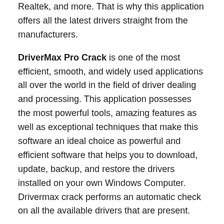Realtek, and more. That is why this application offers all the latest drivers straight from the manufacturers.
DriverMax Pro Crack is one of the most efficient, smooth, and widely used applications all over the world in the field of driver dealing and processing. This application possesses the most powerful tools, amazing features as well as exceptional techniques that make this software an ideal choice as powerful and efficient software that helps you to download, update, backup, and restore the drivers installed on your own Windows Computer. Drivermax crack performs an automatic check on all the available drivers that are present.